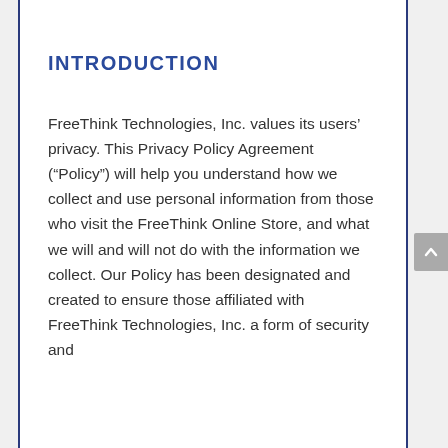INTRODUCTION
FreeThink Technologies, Inc. values its users' privacy. This Privacy Policy Agreement (“Policy”) will help you understand how we collect and use personal information from those who visit the FreeThink Online Store, and what we will and will not do with the information we collect. Our Policy has been designated and created to ensure those affiliated with FreeThink Technologies, Inc. a form of security and…